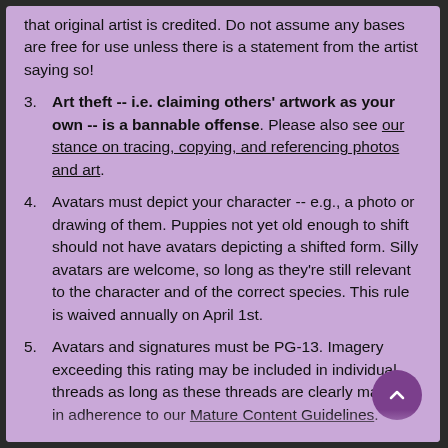that original artist is credited. Do not assume any bases are free for use unless there is a statement from the artist saying so!
3. Art theft -- i.e. claiming others' artwork as your own -- is a bannable offense. Please also see our stance on tracing, copying, and referencing photos and art.
4. Avatars must depict your character -- e.g., a photo or drawing of them. Puppies not yet old enough to shift should not have avatars depicting a shifted form. Silly avatars are welcome, so long as they're still relevant to the character and of the correct species. This rule is waived annually on April 1st.
5. Avatars and signatures must be PG-13. Imagery exceeding this rating may be included in individual threads as long as these threads are clearly marked in adherence to our Mature Content Guidelines.
6. Tables and signatures should not stretch the board (on desktop view). The maximum height for signatures is 400 pixels.
7. Adoptable pet site character clickables/etc. are